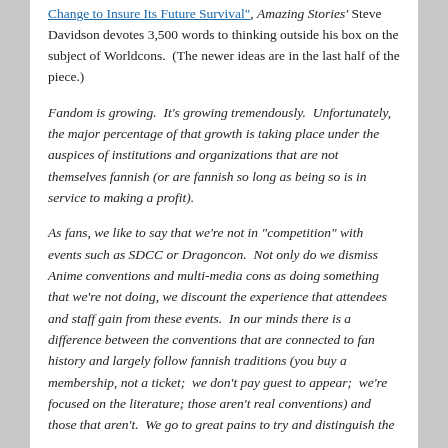Change to Insure Its Future Survival", Amazing Stories' Steve Davidson devotes 3,500 words to thinking outside his box on the subject of Worldcons. (The newer ideas are in the last half of the piece.)
Fandom is growing. It's growing tremendously. Unfortunately, the major percentage of that growth is taking place under the auspices of institutions and organizations that are not themselves fannish (or are fannish so long as being so is in service to making a profit).
As fans, we like to say that we're not in “competition” with events such as SDCC or Dragoncon. Not only do we dismiss Anime conventions and multi-media cons as doing something that we're not doing, we discount the experience that attendees and staff gain from these events. In our minds there is a difference between the conventions that are connected to fan history and largely follow fannish traditions (you buy a membership, not a ticket; we don't pay guest to appear; we're focused on the literature; those aren't real conventions) and those that aren't. We go to great pains to try and distinguish the